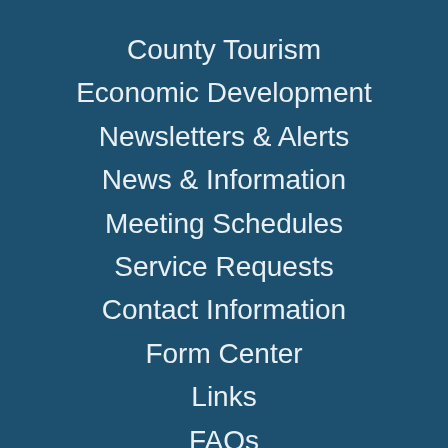County Tourism
Economic Development
Newsletters & Alerts
News & Information
Meeting Schedules
Service Requests
Contact Information
Form Center
Links
FAQs
Directions